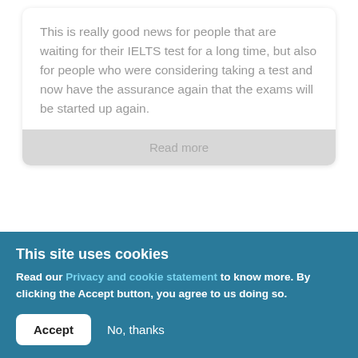This is really good news for people that are waiting for their IELTS test for a long time, but also for people who were considering taking a test and now have the assurance again that the exams will be started up again.
Read more
[Figure (photo): A close-up photo of a person's arm or hand with a blurred green background, partial view only.]
This site uses cookies
Read our Privacy and cookie statement to know more. By clicking the Accept button, you agree to us doing so.
Accept
No, thanks